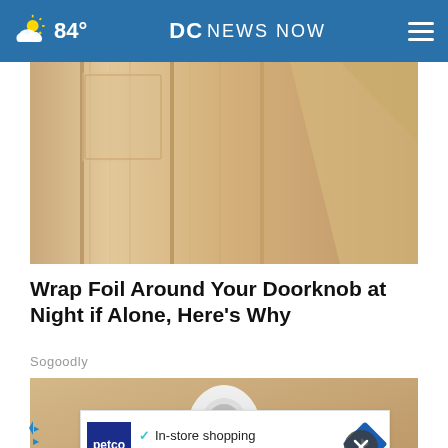84° DC NEWS NOW
[Figure (photo): Close-up photo of a wooden door panel with vertical grooves and warm tan/beige finish]
Wrap Foil Around Your Doorknob at Night if Alone, Here's Why
Sogoodly
[Figure (photo): A hand holding a small white rounded security camera device against a light wood background]
[Figure (other): Petco advertisement banner: In-store shopping and Curbside pickup with checkmarks and navigation arrow icon]